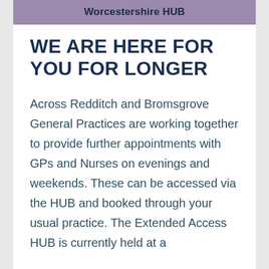Worcestershire HUB
WE ARE HERE FOR YOU FOR LONGER
Across Redditch and Bromsgrove General Practices are working together to provide further appointments with GPs and Nurses on evenings and weekends. These can be accessed via the HUB and booked through your usual practice. The Extended Access HUB is currently held at a